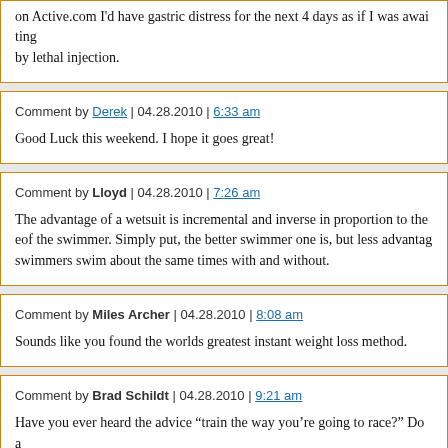on Active.com I'd have gastric distress for the next 4 days as if I was awaiting by lethal injection.
Comment by Derek | 04.28.2010 | 6:33 am
Good Luck this weekend. I hope it goes great!
Comment by Lloyd | 04.28.2010 | 7:26 am
The advantage of a wetsuit is incremental and inverse in proportion to the ability of the swimmer. Simply put, the better swimmer one is, but less advantage. Good swimmers swim about the same times with and without.
Comment by Miles Archer | 04.28.2010 | 8:08 am
Sounds like you found the worlds greatest instant weight loss method.
Comment by Brad Schildt | 04.28.2010 | 9:21 am
Have you ever heard the advice "train the way you're going to race?" Do a open water swim (in 59 degree water) today, tomorrow, and several more times...